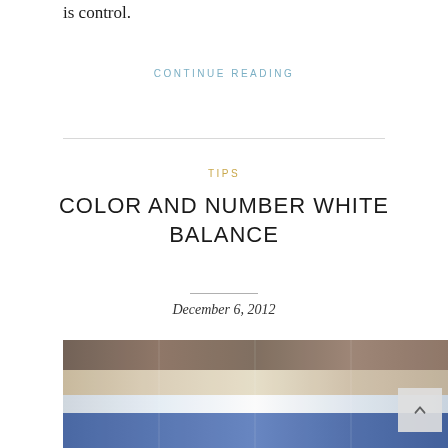is control.
CONTINUE READING
TIPS
COLOR AND NUMBER WHITE BALANCE
December 6, 2012
[Figure (photo): A blurry horizontal strip photo showing what appears to be multiple color-balanced versions of an image side by side, with brown/tan tones at top and blue tones at bottom.]